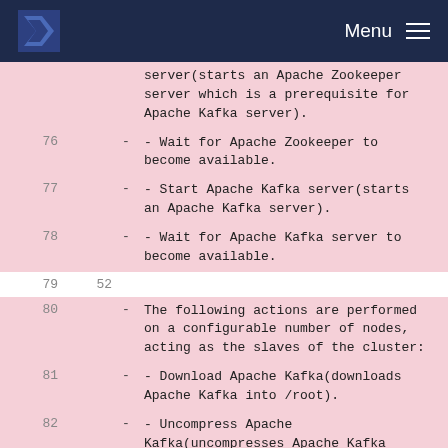Menu
| line | col2 | content |
| --- | --- | --- |
|  |  | server(starts an Apache Zookeeper server which is a prerequisite for Apache Kafka server). |
| 76 |  | - Wait for Apache Zookeeper to become available. |
| 77 |  | - Start Apache Kafka server(starts an Apache Kafka server). |
| 78 |  | - Wait for Apache Kafka server to become available. |
| 79 | 52 |  |
| 80 |  | - The following actions are performed on a configurable number of nodes, acting as the slaves of the cluster: |
| 81 |  | - Download Apache Kafka(downloads Apache Kafka into /root). |
| 82 |  | - Uncompress Apache Kafka(uncompresses Apache Kafka into /usr/local). |
| 83 |  | - Create softlink for Apache Kafka(creates /usr/local/kafka |